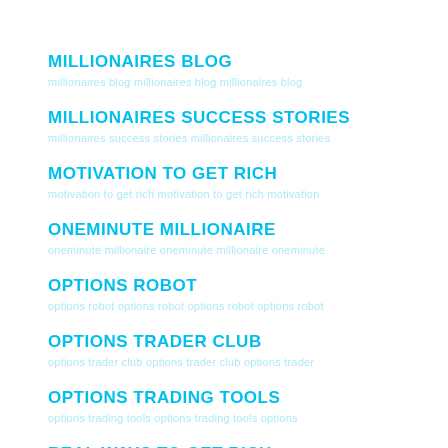MILLIONAIRES BLOG
MILLIONAIRES SUCCESS STORIES
MOTIVATION TO GET RICH
ONEMINUTE MILLIONAIRE
OPTIONS ROBOT
OPTIONS TRADER CLUB
OPTIONS TRADING TOOLS
REAL WAYS TO GET RICH